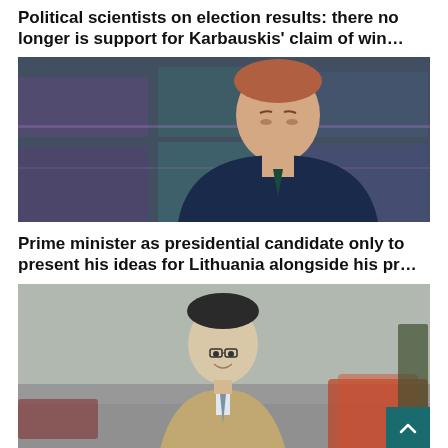Political scientists on election results: there no longer is support for Karbauskis' claim of win…
[Figure (photo): Photo of a man in a dark suit and tie, looking downward, with a blurred building background featuring purple/green glass panels]
Prime minister as presidential candidate only to present his ideas for Lithuania alongside his pr…
[Figure (photo): Photo of a man in a beige coat and tie, smiling, walking outdoors with blurred street and orange flowers in background]
Lithuania's four political sweethearts
[Figure (photo): Partial photo strip at bottom of page, dark toned]